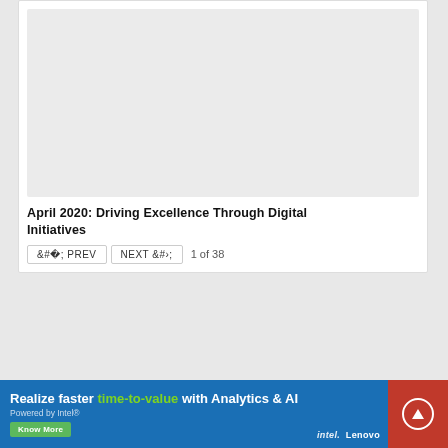[Figure (photo): Light gray placeholder image area for a document or presentation slide preview]
April 2020: Driving Excellence Through Digital Initiatives
< PREV   NEXT >   1 of 38
[Figure (infographic): Advertisement banner: Realize faster time-to-value with Analytics & AI. Powered by Intel. Know More. Intel. Lenovo. With scroll-up arrow button on right.]